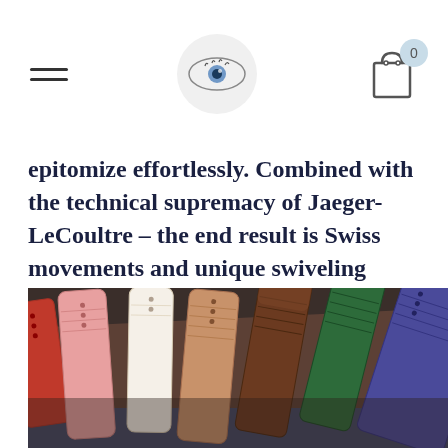Navigation header with hamburger menu, eye logo, and shopping cart (0 items)
epitomize effortlessly. Combined with the technical supremacy of Jaeger-LeCoultre – the end result is Swiss movements and unique swiveling layout.
[Figure (photo): Multiple colorful alligator/crocodile leather watch straps laid out on a dark brown surface: red, pink, white, light brown, dark brown, green, and purple/blue straps arranged in a fan-like display.]